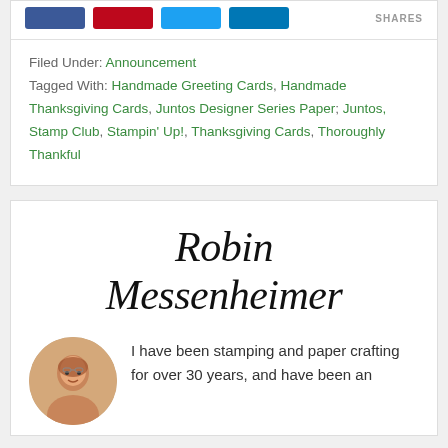[Figure (infographic): Social share buttons: Facebook (blue), Pinterest (red), Twitter (light blue), LinkedIn (dark blue), with SHARES label]
Filed Under: Announcement
Tagged With: Handmade Greeting Cards, Handmade Thanksgiving Cards, Juntos Designer Series Paper; Juntos, Stamp Club, Stampin' Up!, Thanksgiving Cards, Thoroughly Thankful
Robin Messenheimer
[Figure (photo): Circular portrait photo of Robin Messenheimer, an older woman with reddish-gray hair and glasses, smiling]
I have been stamping and paper crafting for over 30 years, and have been an